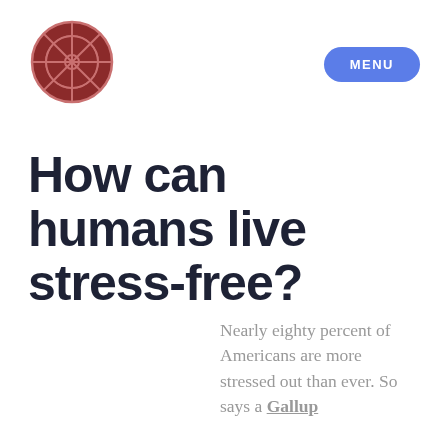[Figure (logo): Circular logo with dark red/burgundy color featuring a compass/wheel design with radiating lines and a cross pattern, resembling a pie chart or compass rose]
[Figure (other): Blue rounded rectangle button with white text reading MENU]
How can humans live stress-free?
Nearly eighty percent of Americans are more stressed out than ever. So says a Gallup